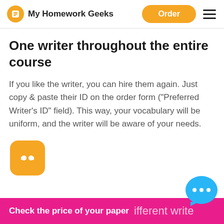My Homework Geeks | Order
One writer throughout the entire course
If you like the writer, you can hire them again. Just copy & paste their ID on the order form ("Preferred Writer's ID" field). This way, your vocabulary will be uniform, and the writer will be aware of your needs.
[Figure (logo): Orange rounded square icon with a microphone/audio symbol (cursor blinking icon) in white]
Check the price of your paper | different writer